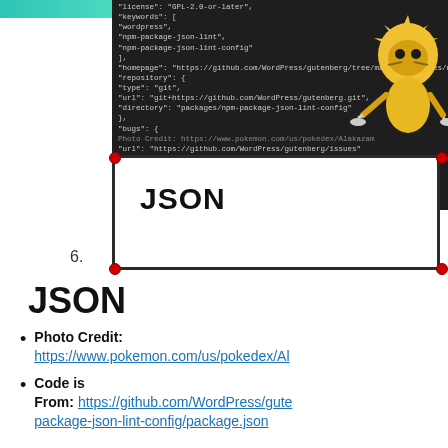[Figure (screenshot): A dark-themed code editor showing JSON content with keywords like license, keywords, homepage, repository, type, url, directory, bugs. A Pokémon character (Alakazam) is overlaid in the top-right. A white box labeled JSON is overlaid in the lower portion of the slide with red corner markers. A photo credit references pokemon.com. Slide number 6 is shown at bottom left.]
JSON
Photo Credit: https://www.pokemon.com/us/pokedex/Al
Code is
From: https://github.com/WordPress/gute
package-json-lint-config/package.json